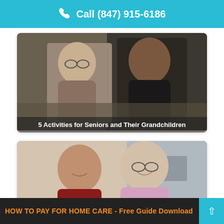Call (847) 915-6186
[Figure (photo): Two women, an older woman with glasses and a younger woman with glasses, looking at something together. Photo card with caption overlay.]
5 Activities for Seniors and Their Grandchildren
[Figure (photo): A young man and an older man smiling, looking at something together (possibly a tablet). Photo card with caption overlay.]
Memory Building Activities for Dementia Patients
[Figure (photo): Partial view of a nature/outdoor photo, partially visible at bottom of page.]
HOW TO PAY FOR HOME CARE - Free Guide Download